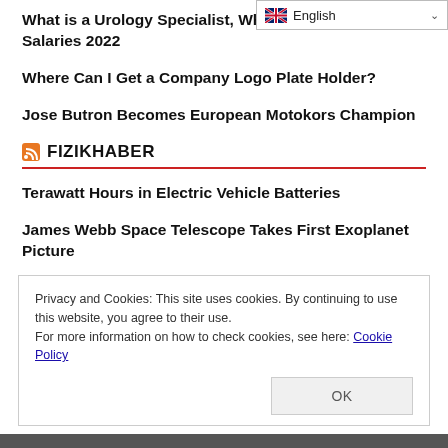[Figure (screenshot): Language selector dropdown showing English with flag icon and chevron]
What is a Urology Specialist, Wh… Become? Urologist Salaries 2022
Where Can I Get a Company Logo Plate Holder?
Jose Butron Becomes European Motokors Champion
FIZIKHABER
Terawatt Hours in Electric Vehicle Batteries
James Webb Space Telescope Takes First Exoplanet Picture
Ancient Drug Solution to the Deadliest Cancer?
Privacy and Cookies: This site uses cookies. By continuing to use this website, you agree to their use.
For more information on how to check cookies, see here: Cookie Policy
OK